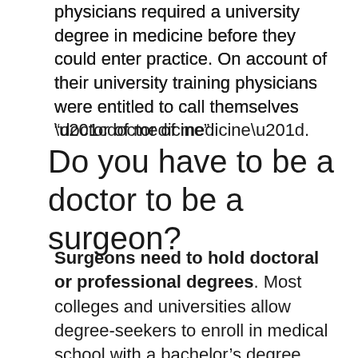physicians required a university degree in medicine before they could enter practice. On account of their university training physicians were entitled to call themselves “doctor of medicine”.
Do you have to be a doctor to be a surgeon?
Surgeons need to hold doctoral or professional degrees. Most colleges and universities allow degree-seekers to enroll in medical school with a bachelor’s degree, although many require an advanced degree. How Much Do Surgeons Make? Surgeon wages vary, depending on their level of experience, specialty area, and location.